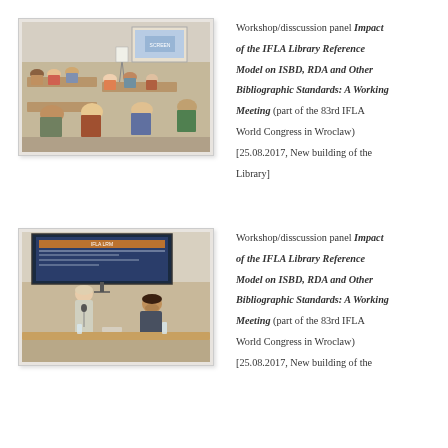[Figure (photo): Workshop room with people seated around tables, presenter at front, projection screen visible in background]
Workshop/disscussion panel Impact of the IFLA Library Reference Model on ISBD, RDA and Other Bibliographic Standards: A Working Meeting (part of the 83rd IFLA World Congress in Wroclaw) [25.08.2017, New building of the Library]
[Figure (photo): Workshop session with a woman presenter standing at podium and a man seated, large projection screen showing presentation behind them]
Workshop/disscussion panel Impact of the IFLA Library Reference Model on ISBD, RDA and Other Bibliographic Standards: A Working Meeting (part of the 83rd IFLA World Congress in Wroclaw) [25.08.2017, New building of the